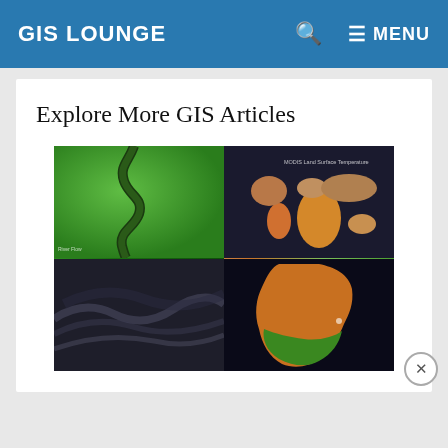GIS LOUNGE  🔍  ≡ MENU
Explore More GIS Articles
[Figure (photo): Four-quadrant composite image: top-left shows a green satellite image of a winding river, top-right shows a world map with land surface temperature data, bottom-left shows a dark grey satellite or topographic image, bottom-right shows an Africa map with vegetation/temperature coloring.]
How to Create a Timelapse of Satellite Imagery With Google Earth Engine and Streamlit